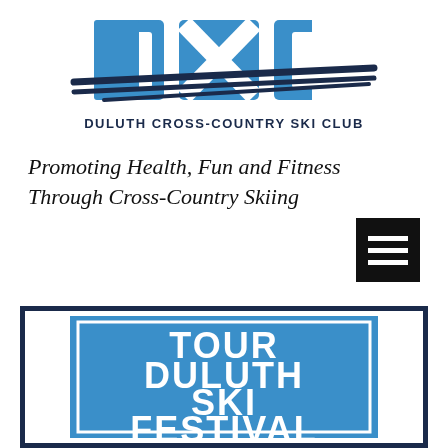[Figure (logo): Duluth Cross-Country Ski Club logo with blue DXC letters, ski poles crossing underneath, and text 'DULUTH CROSS-COUNTRY SKI CLUB' in navy below]
Promoting Health, Fun and Fitness Through Cross-Country Skiing
[Figure (other): Hamburger menu icon — three horizontal white lines on black square background]
[Figure (other): Tour Duluth Ski Festival banner — white text on blue background with dark navy border frame]